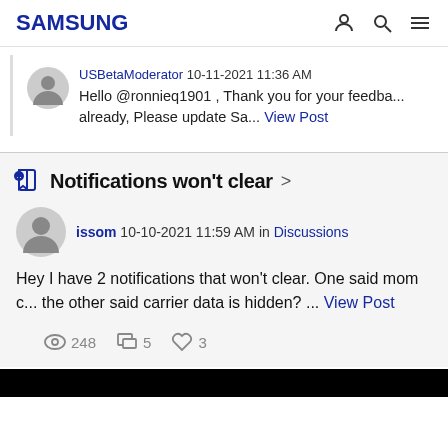SAMSUNG
USBetaModerator 10-11-2021 11:36 AM
Hello @ronnieq1901 , Thank you for your feedba... already, Please update Sa... View Post
Notifications won't clear
issom 10-10-2021 11:59 AM in Discussions
Hey I have 2 notifications that won't clear. One said mom c... the other said carrier data is hidden? ... View Post
248 views, 5 comments, 3 likes